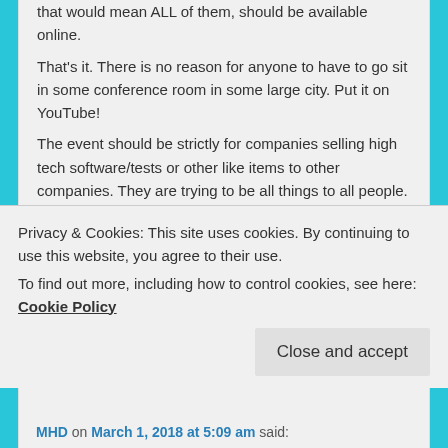that would mean ALL of them, should be available online.
That's it. There is no reason for anyone to have to go sit in some conference room in some large city. Put it on YouTube!
The event should be strictly for companies selling high tech software/tests or other like items to other companies. They are trying to be all things to all people. Also, trying to do 20th century ideas in the 21st.
I am steamed and I'm not even there!!!
Loading...
Reply ↓
Privacy & Cookies: This site uses cookies. By continuing to use this website, you agree to their use.
To find out more, including how to control cookies, see here: Cookie Policy
Close and accept
MHD on March 1, 2018 at 5:09 am said: